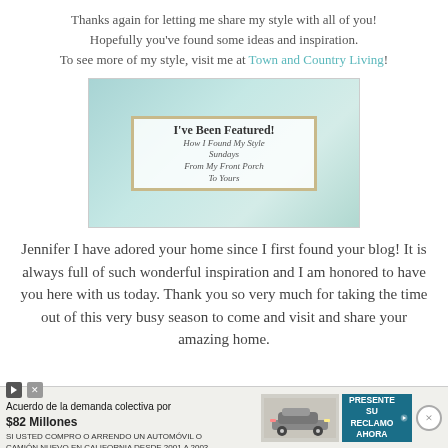Thanks again for letting me share my style with all of you! Hopefully you've found some ideas and inspiration. To see more of my style, visit me at Town and Country Living!
[Figure (illustration): Decorative badge image reading 'I've Been Featured! How I Found My Style Sundays From My Front Porch To Yours' with ornate frame, vintage furniture, plants, and bird on teal background]
Jennifer I have adored your home since I first found your blog! It is always full of such wonderful inspiration and I am honored to have you here with us today. Thank you so very much for taking the time out of this very busy season to come and visit and share your amazing home.
[Figure (other): Advertisement bar: Acuerdo de la demanda colectiva por $82 Millones. SI USTED COMPRO O ARRENDO UN AUTOMÓVIL O CAMIÓN NUEVO EN CALIFORNIA DESDE 2001 A 2003. PRESENTE SU RECLAMO AHORA]